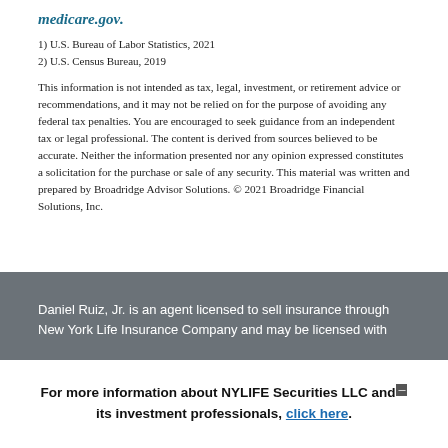medicare.gov.
1) U.S. Bureau of Labor Statistics, 2021
2) U.S. Census Bureau, 2019
This information is not intended as tax, legal, investment, or retirement advice or recommendations, and it may not be relied on for the purpose of avoiding any federal tax penalties. You are encouraged to seek guidance from an independent tax or legal professional. The content is derived from sources believed to be accurate. Neither the information presented nor any opinion expressed constitutes a solicitation for the purchase or sale of any security. This material was written and prepared by Broadridge Advisor Solutions. © 2021 Broadridge Financial Solutions, Inc.
Daniel Ruiz, Jr. is an agent licensed to sell insurance through New York Life Insurance Company and may be licensed with
For more information about NYLIFE Securities LLC and its investment professionals, click here.